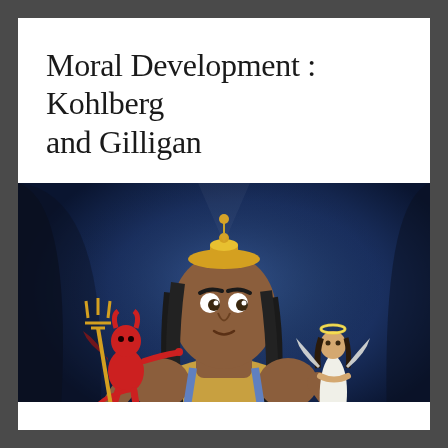Moral Development : Kohlberg and Gilligan
[Figure (illustration): Animated scene from 'The Emperor's New Groove' showing Kronk in the center with a red devil figure on his left shoulder holding a trident and a white angel figure on his right shoulder, set against a dark blue background — illustrating moral decision-making.]